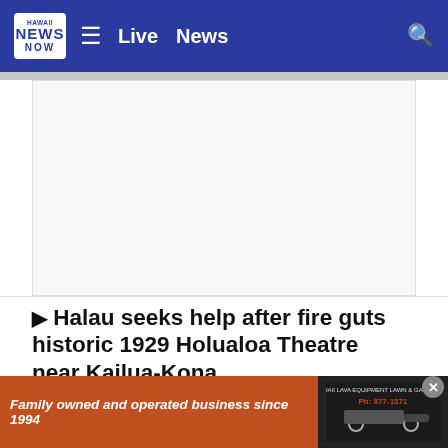Hawaii News Now — Live | News
[Figure (screenshot): White advertisement placeholder area]
▶ Halau seeks help after fire guts historic 1929 Holualoa Theatre near Kailua-Kona
Updated: 15 hours ago  |  By Annalisa Burgos
The 1929 Holualoa Theatre was home to several community organizations, including Kumu Lehua Bray's Hula Maunalei Halau for the past 13 years.
[Figure (photo): HNN File Image — partial view of news photo at bottom]
Family owned and operated business since 1994